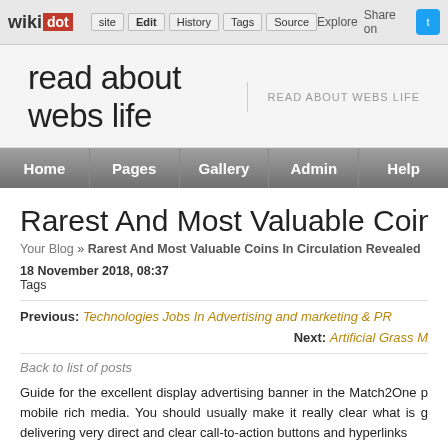wikidot | site | Edit | History | Tags | Source | Explore | Share on [Twitter]
read about webs life | READ ABOUT WEBS LIFE
Home | Pages | Gallery | Admin | Help
Rarest And Most Valuable Coins In Circulation Revealed
Your Blog » Rarest And Most Valuable Coins In Circulation Revealed
18 November 2018, 08:37
Tags
Previous: Technologies Jobs In Advertising and marketing & PR
Next: Artificial Grass M
Back to list of posts
Guide for the excellent display advertising banner in the Match2One p... mobile rich media. You should usually make it really clear what is g... delivering very direct and clear call-to-action buttons and hyperlinks